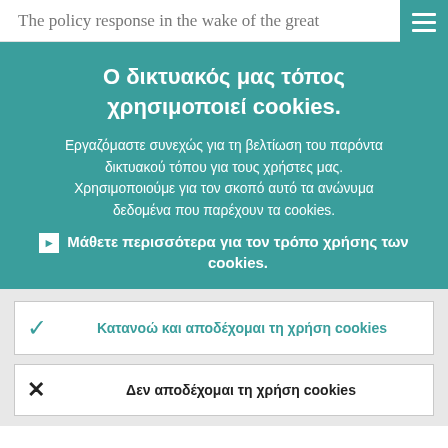The policy response in the wake of the great
Ο δικτυακός μας τόπος χρησιμοποιεί cookies.
Εργαζόμαστε συνεχώς για τη βελτίωση του παρόντα δικτυακού τόπου για τους χρήστες μας. Χρησιμοποιούμε για τον σκοπό αυτό τα ανώνυμα δεδομένα που παρέχουν τα cookies.
Μάθετε περισσότερα για τον τρόπο χρήσης των cookies.
Κατανοώ και αποδέχομαι τη χρήση cookies
Δεν αποδέχομαι τη χρήση cookies